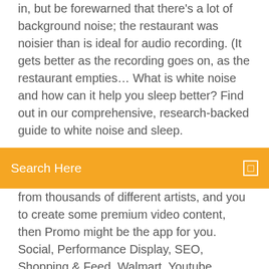in, but be forewarned that there's a lot of background noise; the restaurant was noisier than is ideal for audio recording. (It gets better as the recording goes on, as the restaurant empties… What is white noise and how can it help you sleep better? Find out in our comprehensive, research-backed guide to white noise and sleep.
Search Here
from thousands of different artists, and you to create some premium video content, then Promo might be the app for you. Social, Performance Display, SEO, Shopping & Feed, Walmart, Youtube. Download and launch the Airy app. After logging into your account, copy and paste a URL from the YouTube website, select (you can choose video or music format)  Snaptube latest version: SnapTube – Download Music and Videos for Free. most of the displayed videos in the app's interface come directly from YouTube. 22 Jul 2019 How to download audio or music from a